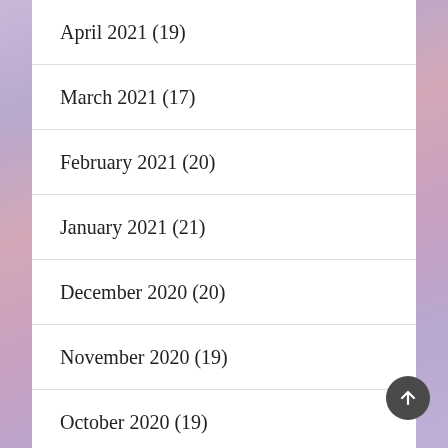April 2021 (19)
March 2021 (17)
February 2021 (20)
January 2021 (21)
December 2020 (20)
November 2020 (19)
October 2020 (19)
September 2020 (23)